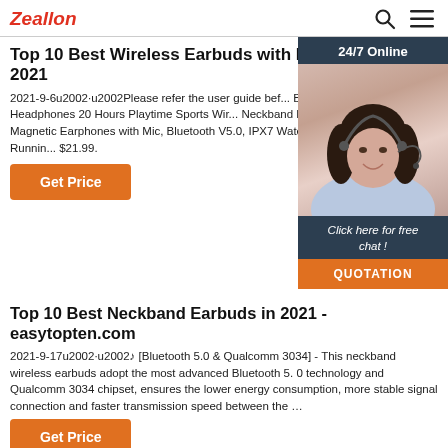Zeallon
Top 10 Best Wireless Earbuds with Neckband in 2021
2021-9-6u2002·u2002Please refer the user guide before use. Bluetooth Headphones 20 Hours Playtime Sports Wireless Neckband HiFi Stereo Bass Magnetic Earphones with Mic, Bluetooth V5.0, IPX7 Waterproof for Gym Running $21.99.
[Figure (photo): Woman wearing a headset with 24/7 Online banner and chat widget with 'Click here for free chat!' and QUOTATION button]
Get Price
Top 10 Best Neckband Earbuds in 2021 - easytopten.com
2021-9-17u2002·u2002♪ [Bluetooth 5.0 & Qualcomm 3034] - This neckband wireless earbuds adopt the most advanced Bluetooth 5. 0 technology and Qualcomm 3034 chipset, ensures the lower energy consumption, more stable signal connection and faster transmission speed between the …
Get Price